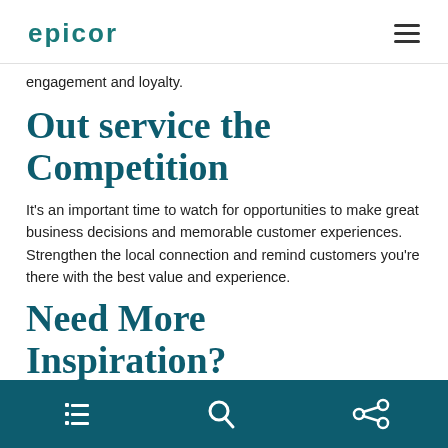epicor
engagement and loyalty.
Out service the Competition
It's an important time to watch for opportunities to make great business decisions and memorable customer experiences. Strengthen the local connection and remind customers you're there with the best value and experience.
Need More Inspiration?